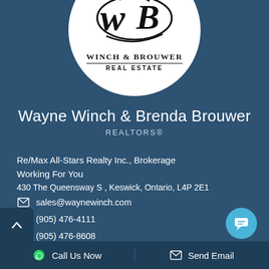[Figure (logo): Winch & Brouwer Real Estate circular logo with cursive WB monogram]
Wayne Winch & Brenda Brouwer
REALTORS®
Re/Max All-Stars Realty Inc., Brokerage
Working For You
430 The Queensway S , Keswick, Ontario, L4P 2E1
sales@waynewinch.com
(905) 476-4111
(905) 476-8608
Call Us Now   Send Email